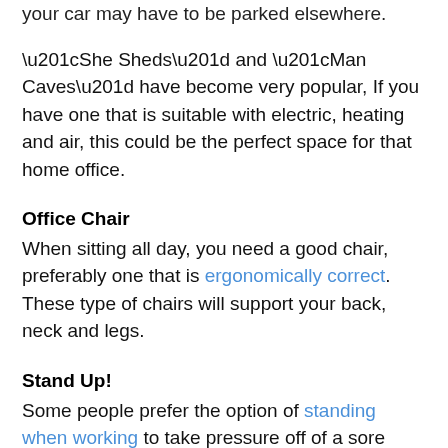your car may have to be parked elsewhere.
“She Sheds” and “Man Caves” have become very popular, If you have one that is suitable with electric, heating and air, this could be the perfect space for that home office.
Office Chair
When sitting all day, you need a good chair, preferably one that is ergonomically correct. These type of chairs will support your back, neck and legs.
Stand Up!
Some people prefer the option of standing when working to take pressure off of a sore back. An ergonomic, standing desk rises and allows you to stand in comfort.
Lighting